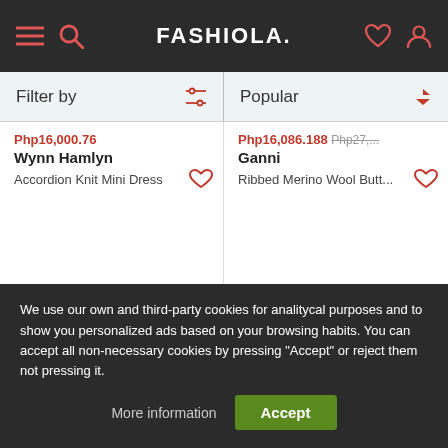FASHIOLA.
Filter by | Popular
Php16,000.76
Wynn Hamlyn
Accordion Knit Mini Dress
Php16,086.188 ... 
Ganni
Ribbed Merino Wool Butt...
We use our own and third-party cookies for analitycal purposes and to show you personalized ads based on your browsing habits. You can accept all non-necessary cookies by pressing "Accept" or reject them not pressing it.
More information | Accept